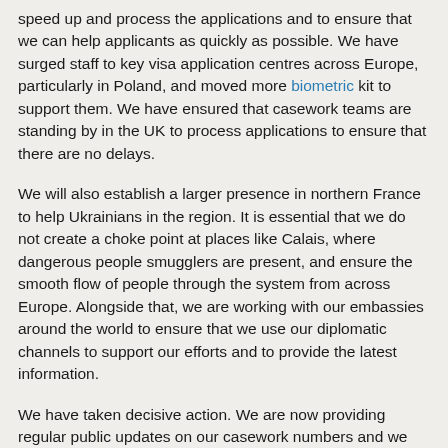speed up and process the applications and to ensure that we can help applicants as quickly as possible. We have surged staff to key visa application centres across Europe, particularly in Poland, and moved more biometric kit to support them. We have ensured that casework teams are standing by in the UK to process applications to ensure that there are no delays.
We will also establish a larger presence in northern France to help Ukrainians in the region. It is essential that we do not create a choke point at places like Calais, where dangerous people smugglers are present, and ensure the smooth flow of people through the system from across Europe. Alongside that, we are working with our embassies around the world to ensure that we use our diplomatic channels to support our efforts and to provide the latest information.
We have taken decisive action. We are now providing regular public updates on our casework numbers and we will continue to keep the House updated on this progress.
Link to this speech
In context   Individually
Tweet   Share
(Citation: HC Deb, 8 March 2022, c197)